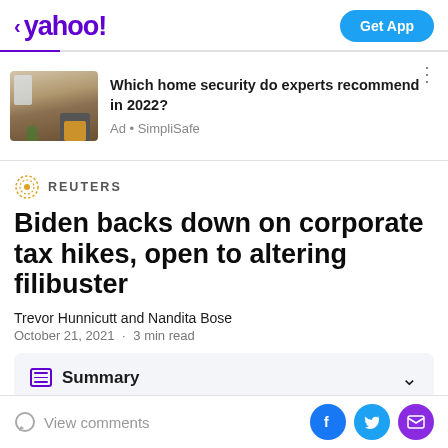< yahoo! | Get App
[Figure (screenshot): Ad banner with home interior photo showing a fireplace and text: Which home security do experts recommend in 2022? Ad • SimpliSafe]
REUTERS
Biden backs down on corporate tax hikes, open to altering filibuster
Trevor Hunnicutt and Nandita Bose
October 21, 2021 · 3 min read
Summary
View comments